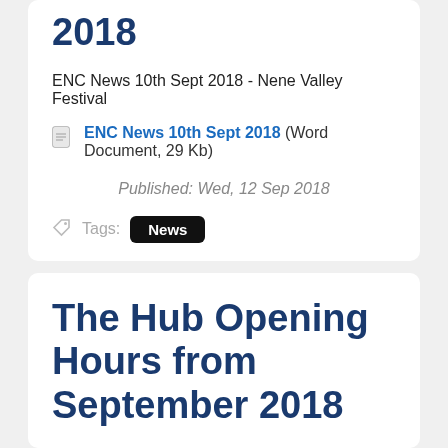2018
ENC News 10th Sept 2018 - Nene Valley Festival
ENC News 10th Sept 2018 (Word Document, 29 Kb)
Published: Wed, 12 Sep 2018
Tags: News
The Hub Opening Hours from September 2018